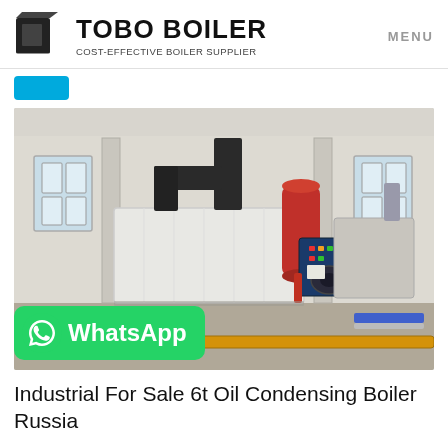TOBO BOILER — COST-EFFECTIVE BOILER SUPPLIER | MENU
[Figure (photo): Industrial boiler room with a large white horizontal oil condensing boiler unit, black exhaust duct, red cylindrical pressure vessel, blue control panel assembly, and additional boilers in the background. WhatsApp chat badge overlaid at bottom left.]
Industrial For Sale 6t Oil Condensing Boiler Russia